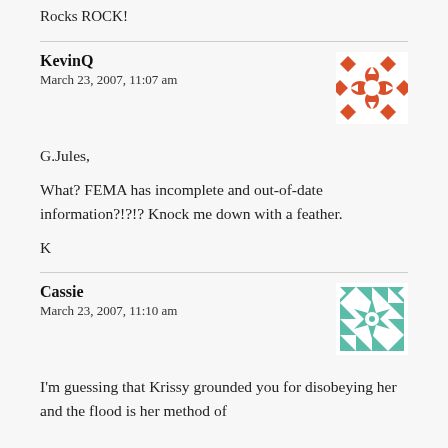Rocks ROCK!
KevinQ
March 23, 2007, 11:07 am
[Figure (illustration): Orange geometric avatar icon with diamond/star pattern in red-orange on white background]
G.Jules,
What? FEMA has incomplete and out-of-date information?!?!? Knock me down with a feather.
K
Cassie
March 23, 2007, 11:10 am
[Figure (illustration): Teal/green geometric avatar icon with quilt-like diamond pattern]
I'm guessing that Krissy grounded you for disobeying her and the flood is her method of